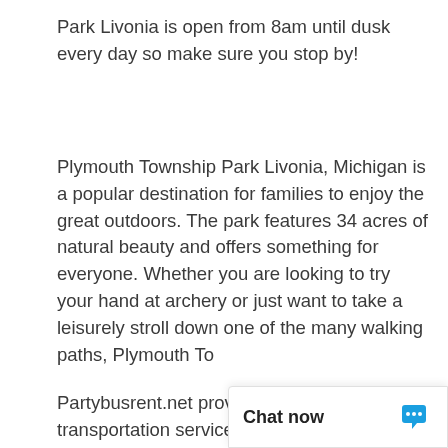Park Livonia is open from 8am until dusk every day so make sure you stop by!
Plymouth Township Park Livonia, Michigan is a popular destination for families to enjoy the great outdoors. The park features 34 acres of natural beauty and offers something for everyone. Whether you are looking to try your hand at archery or just want to take a leisurely stroll down one of the many walking paths, Plymouth To
Partybusrent.net provides group transportation services, we offer a wide variety of rentals to pick from! From charter bus rentals, party buses, and limo rentals we have the perfect rentals for all types of events such as weddings, corporate transportation and employee transportation Beaufor... Jacksonville